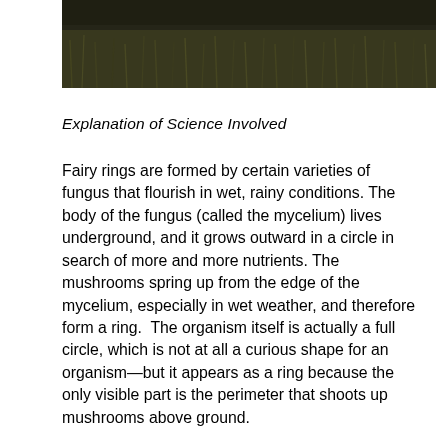[Figure (photo): Photograph of a fairy ring of mushrooms in grass, dark green/brown tones, grassy landscape]
Explanation of Science Involved
Fairy rings are formed by certain varieties of fungus that flourish in wet, rainy conditions. The body of the fungus (called the mycelium) lives underground, and it grows outward in a circle in search of more and more nutrients. The mushrooms spring up from the edge of the mycelium, especially in wet weather, and therefore form a ring.  The organism itself is actually a full circle, which is not at all a curious shape for an organism—but it appears as a ring because the only visible part is the perimeter that shoots up mushrooms above ground.